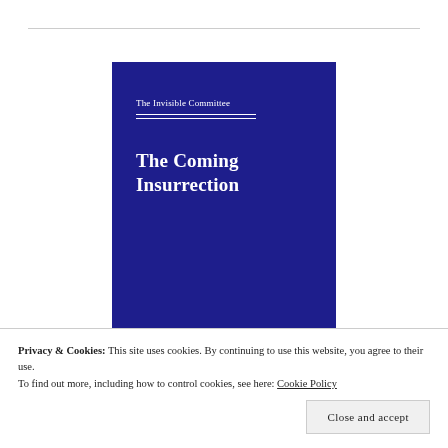[Figure (illustration): Book cover with dark navy/blue background. Author name 'The Invisible Committee' at top in white, followed by two horizontal white rules, then large bold title 'The Coming Insurrection' in white.]
Privacy & Cookies: This site uses cookies. By continuing to use this website, you agree to their use.
To find out more, including how to control cookies, see here: Cookie Policy
Close and accept